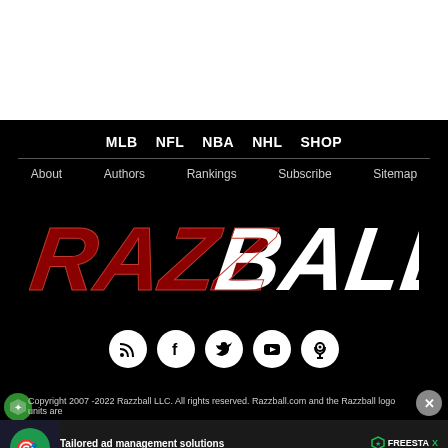MLB  NFL  NBA  NHL  SHOP
About  Authors  Rankings  Subscribe  Sitemap
[Figure (logo): Razzball logo — RAZZ in red/dark red italic bold, BALL in white italic bold]
[Figure (infographic): 5 social media icon circles: RSS, Facebook, Twitter, YouTube, Podcast]
Copyright 2007 -2022 Razzball LLC. All rights reserved. Razzball.com and the Razzball logo units are
[Figure (infographic): Advertisement banner: Tailored ad management solutions for every publisher — Freesta — LEARN MORE button]